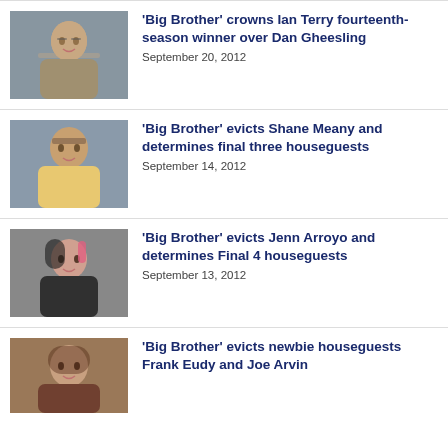'Big Brother' crowns Ian Terry fourteenth-season winner over Dan Gheesling — September 20, 2012
'Big Brother' evicts Shane Meany and determines final three houseguests — September 14, 2012
'Big Brother' evicts Jenn Arroyo and determines Final 4 houseguests — September 13, 2012
'Big Brother' evicts newbie houseguests Frank Eudy and Joe Arvin